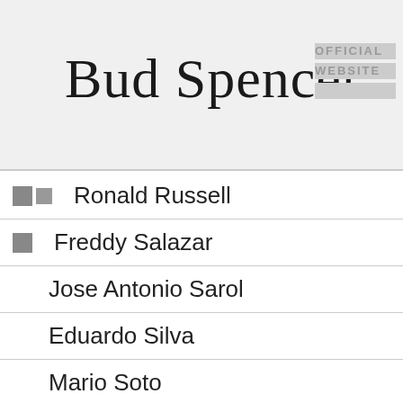Bud Spencer OFFICIAL WEBSITE
Ronald Russell
Freddy Salazar
Jose Antonio Sarol
Eduardo Silva
Mario Soto
Chuck Sweet
Claudio Taylor
Jim Theologos
José Pablo Torre
Enrique Torrent